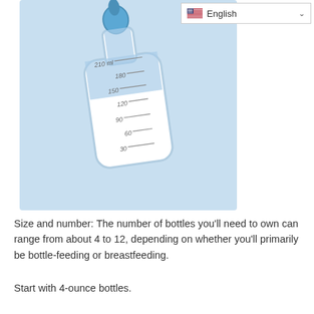English
[Figure (illustration): Baby bottle illustration on light blue background showing measurement markings: 30, 60, 90, 120, 150, 180, 210 ml. The bottle is tilted slightly, with a blue nipple at top and clear body showing the graduated scale.]
Size and number: The number of bottles you’ll need to own can range from about 4 to 12, depending on whether you’ll primarily be bottle-feeding or breastfeeding.
Start with 4-ounce bottles.